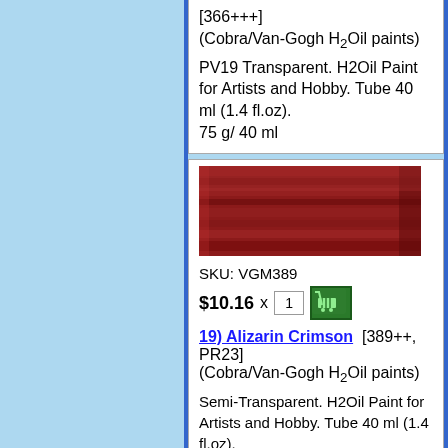[366+++]
(Cobra/Van-Gogh H2Oil paints)
PV19 Transparent. H2Oil Paint for Artists and Hobby. Tube 40 ml (1.4 fl.oz).
75 g/ 40 ml
[Figure (photo): Dark red/crimson paint swatch on painted surface]
SKU: VGM389
$10.16 x 1
19) Alizarin Crimson [389++, PR23]
(Cobra/Van-Gogh H2Oil paints)
Semi-Transparent. H2Oil Paint for Artists and Hobby. Tube 40 ml (1.4 fl.oz).
75 g/ 40 ml
[Figure (photo): Dark crimson/red paint swatch on canvas-textured surface]
SKU: VGM318